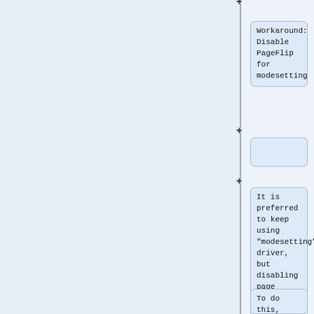Workaround: Disable PageFlip for modesetting
It is preferred to keep using "modesetting" driver, but disabling page flipping is necessary.
To do this,